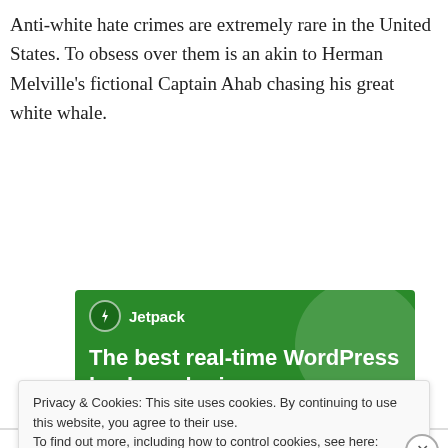Anti-white hate crimes are extremely rare in the United States. To obsess over them is an akin to Herman Melville's fictional Captain Ahab chasing his great white whale.
[Figure (screenshot): Jetpack advertisement banner with green background showing 'The best real-time WordPress backup plugin' with Jetpack logo and lightning bolt icon]
Privacy & Cookies: This site uses cookies. By continuing to use this website, you agree to their use.
To find out more, including how to control cookies, see here: Cookie Policy
Close and accept